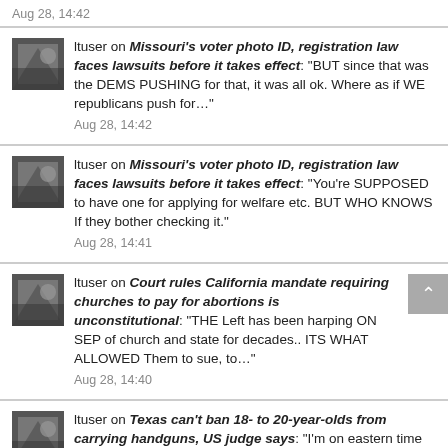Aug 28, 14:42
ltuser on Missouri's voter photo ID, registration law faces lawsuits before it takes effect: "BUT since that was the DEMS PUSHING for that, it was all ok. Where as if WE republicans push for…"
Aug 28, 14:42
ltuser on Missouri's voter photo ID, registration law faces lawsuits before it takes effect: "You're SUPPOSED to have one for applying for welfare etc. BUT WHO KNOWS If they bother checking it."
Aug 28, 14:41
ltuser on Court rules California mandate requiring churches to pay for abortions is unconstitutional: "THE Left has been harping ON SEP of church and state for decades.. ITS WHAT ALLOWED Them to sue, to…"
Aug 28, 14:40
ltuser on Texas can't ban 18- to 20-year-olds from carrying handguns, US judge says: "I'm on eastern time (Columbus ohio).. So if you're say out west, or central,